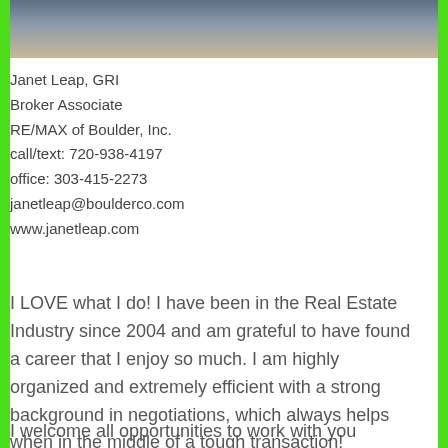[Figure (photo): Portrait photo of a blonde woman in a blue top, cropped at the top of the page]
Janet Leap, GRI
Broker Associate
RE/MAX of Boulder, Inc.
call/text: 720-938-4197
office: 303-415-2273
janetleap@boulderco.com
www.janetleap.com
I LOVE what I do! I have been in the Real Estate Industry since 2004 and am grateful to have found a career that I enjoy so much. I am highly organized and extremely efficient with a strong background in negotiations, which always helps when in the middle of a tough transaction!
I welcome all opportunities to work with you whether you